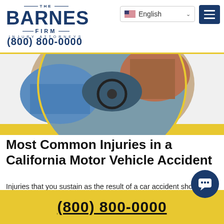[Figure (logo): The Barnes Firm Injury Attorneys logo with dark blue text]
[Figure (screenshot): English language selector dropdown with US flag]
[Figure (screenshot): Hamburger menu button, dark blue]
(800) 800-0000
[Figure (photo): Circular cropped photo of a car accident scene, hands on steering wheel, blue and brown tones]
Most Common Injuries in a California Motor Vehicle Accident
Injuries that you sustain as the result of a car accident should be taken seriously, no matter how minor it may seem. When injured in an auto incident, receiving guidance from personal injury attorneys can h
(800) 800-0000